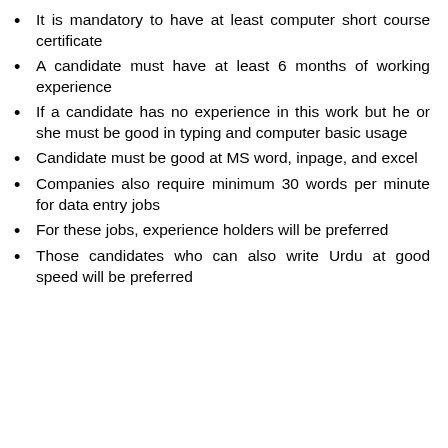It is mandatory to have at least computer short course certificate
A candidate must have at least 6 months of working experience
If a candidate has no experience in this work but he or she must be good in typing and computer basic usage
Candidate must be good at MS word, inpage, and excel
Companies also require minimum 30 words per minute for data entry jobs
For these jobs, experience holders will be preferred
Those candidates who can also write Urdu at good speed will be preferred